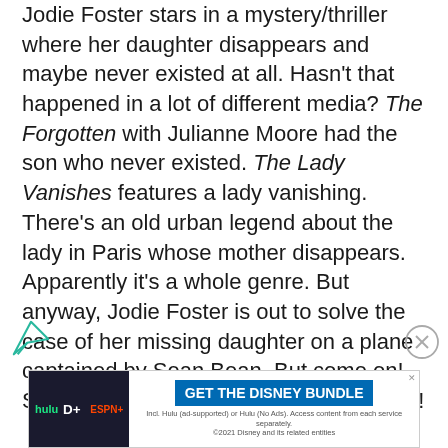Jodie Foster stars in a mystery/thriller where her daughter disappears and maybe never existed at all. Hasn't that happened in a lot of different media? The Forgotten with Julianne Moore had the son who never existed. The Lady Vanishes features a lady vanishing. There's an old urban legend about the lady in Paris whose mother disappears. Apparently it's a whole genre. But anyway, Jodie Foster is out to solve the case of her missing daughter on a plane captained by Sean Bean. But come on! Sean Bean is almost always the bad guy!
[Figure (screenshot): Advertisement banner for Disney Bundle featuring Hulu, Disney+, and ESPN+ logos with blue 'GET THE DISNEY BUNDLE' call-to-action button and fine print text about access and 2021 Disney copyright.]